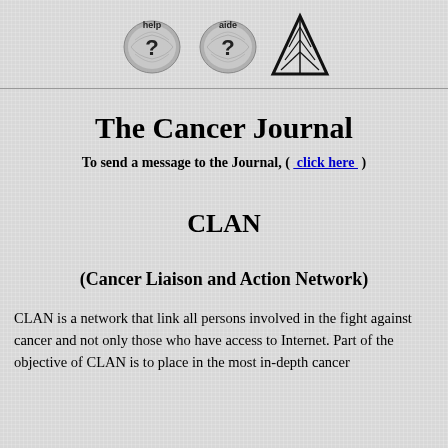[Figure (logo): Three logos in header: two circular question mark icons labeled 'help' and 'aide', and a triangular arrow logo]
The Cancer Journal
To send a message to the Journal, ( click here )
CLAN
(Cancer Liaison and Action Network)
CLAN is a network that link all persons involved in the fight against cancer and not only those who have access to Internet. Part of the objective of CLAN is to place in the most in-depth cancer...